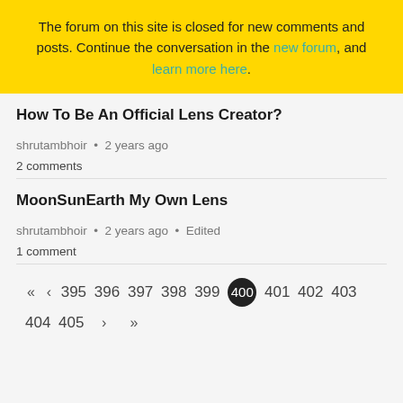The forum on this site is closed for new comments and posts. Continue the conversation in the new forum, and learn more here.
How To Be An Official Lens Creator?
shrutambhoir • 2 years ago
2 comments
MoonSunEarth My Own Lens
shrutambhoir • 2 years ago • Edited
1 comment
« ‹ 395 396 397 398 399 400 401 402 403 404 405 › »